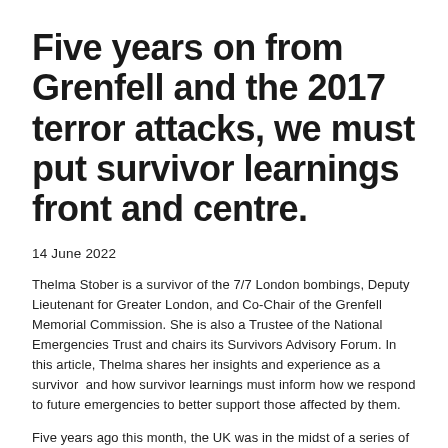Five years on from Grenfell and the 2017 terror attacks, we must put survivor learnings front and centre.
14 June 2022
Thelma Stober is a survivor of the 7/7 London bombings, Deputy Lieutenant for Greater London, and Co-Chair of the Grenfell Memorial Commission. She is also a Trustee of the National Emergencies Trust and chairs its Survivors Advisory Forum. In this article, Thelma shares her insights and experience as a survivor  and how survivor learnings must inform how we respond to future emergencies to better support those affected by them.
Five years ago this month, the UK was in the midst of a series of unimaginable events that changed many thousands of lives forever. It seems almost